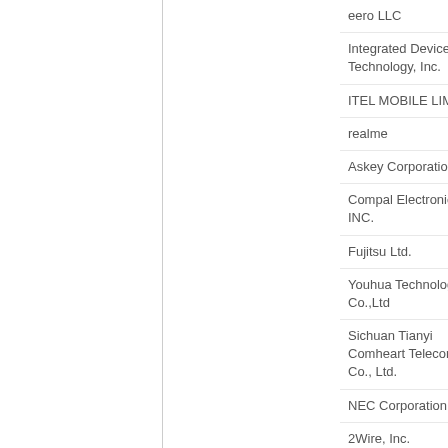| Company | URL | Country |
| --- | --- | --- |
| eero LLC | https://eero.com/ | s |
| Integrated Device Technology, Inc. | http://www.idt.com/ | s |
| ITEL MOBILE LIMITED | https://www.itel-mobile.com/ | Ho |
| realme | https://www.realme.com/ | C |
| Askey Corporation | http://www.askey.com.tw/ | Ta |
| Compal Electronics, INC. | http://www.compal.com/ | Ta |
| Fujitsu Ltd. | http://www.fujitsu.com/ | J |
| Youhua Technology Co.,Ltd | http://www.youhuatech.com/ | C |
| Sichuan Tianyi Comheart Telecom Co., Ltd. | http://www.tianyisc.com/ | C |
| NEC Corporation | http://www.nec.com/ | J |
| 2Wire, Inc. | http://www.arris.com/company/2wire | s |
| Sky UK Limited | http://www.sky.com/ |  |
| Wistron NeWeb Corporation | http://www.wnc.com.tw/ | Ta |
| Ericsson | https://www.ericsson.com/ | Sw |